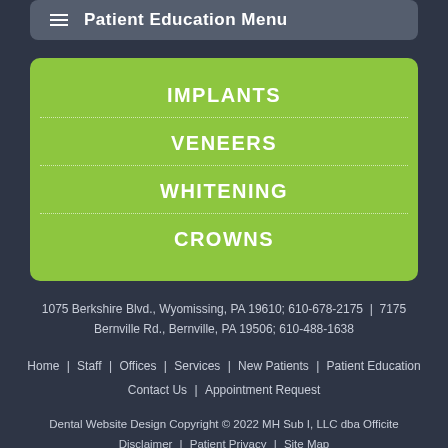≡ Patient Education Menu
IMPLANTS
VENEERS
WHITENING
CROWNS
1075 Berkshire Blvd., Wyomissing, PA 19610; 610-678-2175  |  7175 Bernville Rd., Bernville, PA 19506; 610-488-1638
Home  Staff  Offices  Services  New Patients  Patient Education  Contact Us  Appointment Request
Dental Website Design Copyright © 2022 MH Sub I, LLC dba Officite  Disclaimer  Patient Privacy  Site Map